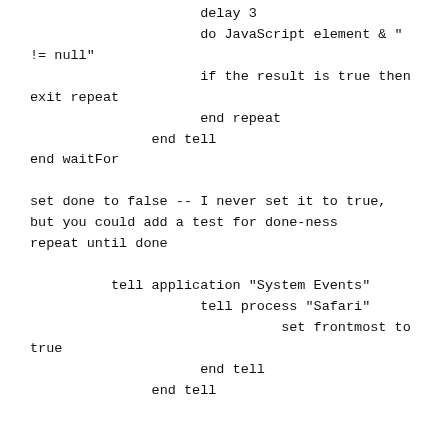delay 3
                     do JavaScript element & " != null"
                     if the result is true then exit repeat
                     end repeat
               end tell
end waitFor

set done to false -- I never set it to true, but you could add a test for done-ness
repeat until done

          tell application "System Events"
                     tell process "Safari"
                               set frontmost to true
                     end tell
               end tell